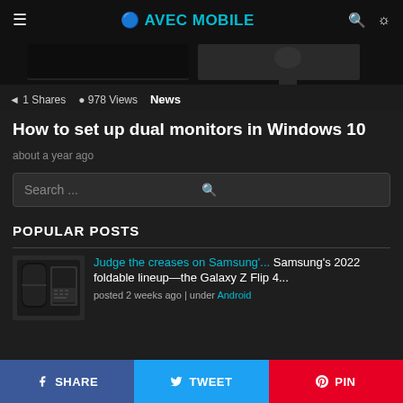☰ 🔆 AVEC MOBILE 🔍
[Figure (photo): Hero image showing dual monitors setup on a desk, dark background]
1 Shares   978 Views   News
How to set up dual monitors in Windows 10
about a year ago
Search ...
POPULAR POSTS
[Figure (photo): Thumbnail of Samsung Galaxy Z Flip 4 foldable phone]
Judge the creases on Samsung'... Samsung's 2022 foldable lineup—the Galaxy Z Flip 4... posted 2 weeks ago | under Android
SHARE   TWEET   PIN